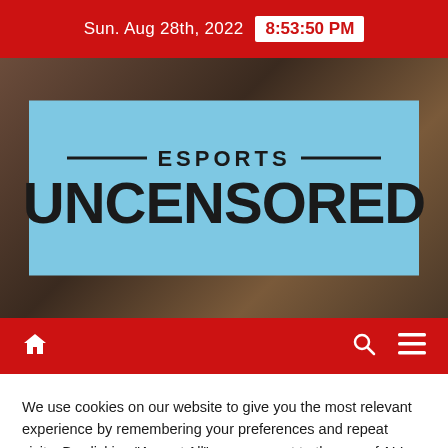Sun. Aug 28th, 2022   8:53:50 PM
[Figure (logo): Esports Uncensored logo on light blue background over a dark hero image]
We use cookies on our website to give you the most relevant experience by remembering your preferences and repeat visits. By clicking "Accept All", you consent to the use of ALL the cookies. However, you may visit "Cookie Settings" to provide a controlled consent.
Cookie Settings   Accept All